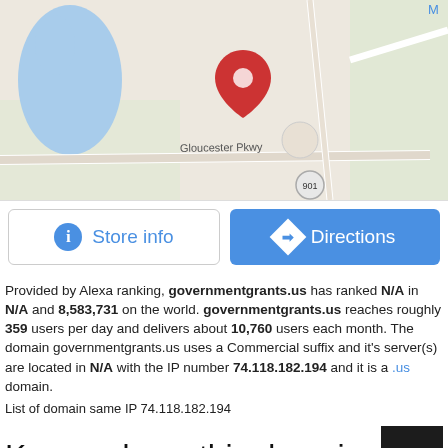[Figure (map): Google Maps screenshot showing a location pin near Gloucester Pkwy, with road 901 and 641 visible, and a blue water body on the left.]
Store info
Directions
Provided by Alexa ranking, governmentgrants.us has ranked N/A in N/A and 8,583,731 on the world. governmentgrants.us reaches roughly 359 users per day and delivers about 10,760 users each month. The domain governmentgrants.us uses a Commercial suffix and it's server(s) are located in N/A with the IP number 74.118.182.194 and it is a .us domain.
List of domain same IP 74.118.182.194
Keywords on this domain